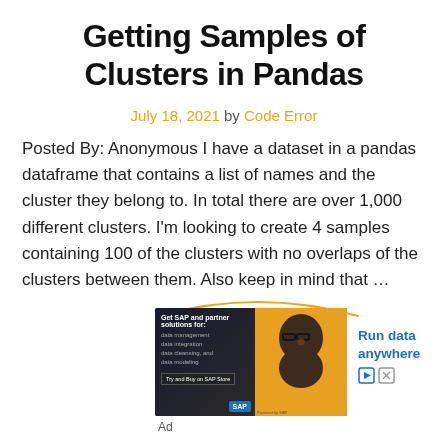Getting Samples of Clusters in Pandas
July 18, 2021 by Code Error
Posted By: Anonymous I have a dataset in a pandas dataframe that contains a list of names and the cluster they belong to. In total there are over 1,000 different clusters. I'm looking to create 4 samples containing 100 of the clusters with no overlaps of the clusters between them. Also keep in mind that …
[Figure (photo): Advertisement banner showing an SAP product ad with text 'Get SAP and partner solutions for: data management, data integration, data cleansing, and data modeling.' with a man wearing glasses and yellow shirt. Text reads 'Run data anywhere']
Ad